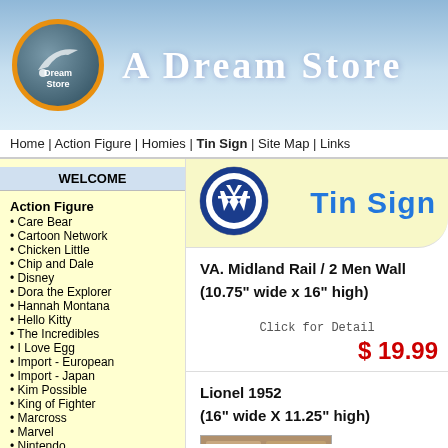A Dream Store
Home | Action Figure | Homies | Tin Sign | Site Map | Links
WELCOME
Action Figure
Care Bear
Cartoon Network
Chicken Little
Chip and Dale
Disney
Dora the Explorer
Hannah Montana
Hello Kitty
The Incredibles
I Love Egg
Import - European
Import - Japan
Kim Possible
King of Fighter
Marcross
Marvel
Nintendo
PIXAR Movie
Pokemon
Robots
Simpsons
Street Fighter
Super Mario Bros.
Tea Dog
Transformers
Tweety
Winnie the Pooh
[Figure (logo): VW Volkswagen circular logo in blue and white]
Tin Sign
VA. Midland Rail / 2 Men Wall (10.75" wide x 16" high)
Click for Detail
$ 19.99
Lionel 1952 (16" wide X 11.25" high)
[Figure (photo): Product photo for Lionel 1952 tin sign]